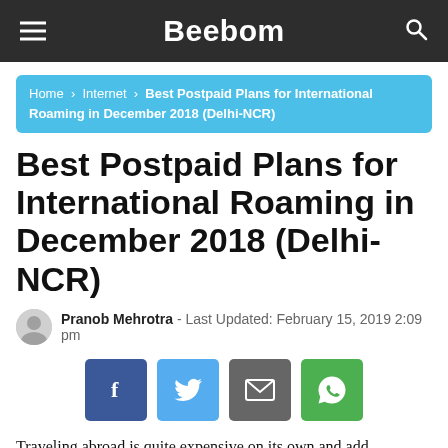Beebom
Home › Internet › Best Postpaid Plans for International Roaming in December 2018 (Delhi-NCR)
Best Postpaid Plans for International Roaming in December 2018 (Delhi-NCR)
Pranob Mehrotra - Last Updated: February 15, 2019 2:09 pm
[Figure (infographic): Social share buttons: Facebook, Twitter, Email, WhatsApp]
Traveling abroad is quite expensive on its own and add